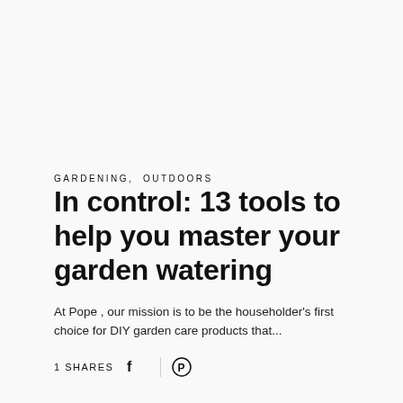GARDENING,  OUTDOORS
In control: 13 tools to help you master your garden watering
At Pope , our mission is to be the householder's first choice for DIY garden care products that...
1 SHARES